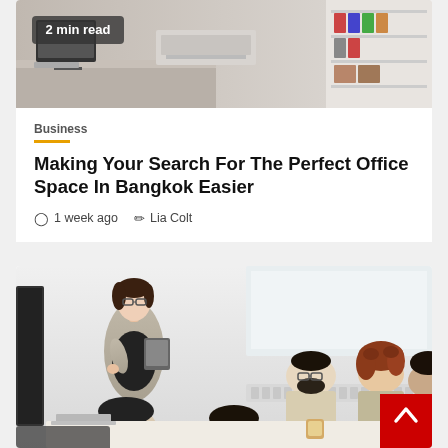[Figure (photo): Top portion of an office article card showing an office environment with equipment, with a '2 min read' badge overlay]
Business
Making Your Search For The Perfect Office Space In Bangkok Easier
1 week ago   Lia Colt
[Figure (photo): Bottom article card showing a business meeting scene with a woman presenter standing and audience members seated, and a red scroll-to-top button in bottom right corner]